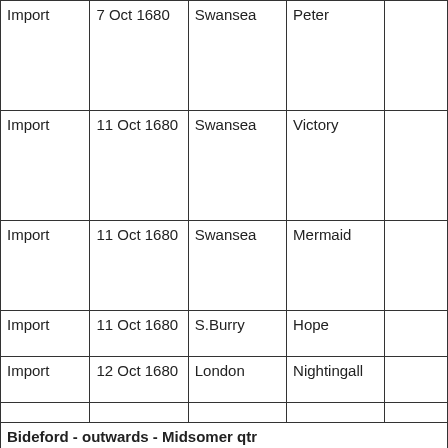| Import | 7 Oct 1680 | Swansea | Peter |  |
| Import | 11 Oct 1680 | Swansea | Victory |  |
| Import | 11 Oct 1680 | Swansea | Mermaid |  |
| Import | 11 Oct 1680 | S.Burry | Hope |  |
| Import | 12 Oct 1680 | London | Nightingall |  |
|  |  |  |  |  |
| Bideford - outwards - Midsomer qtr |  |  |  |  |